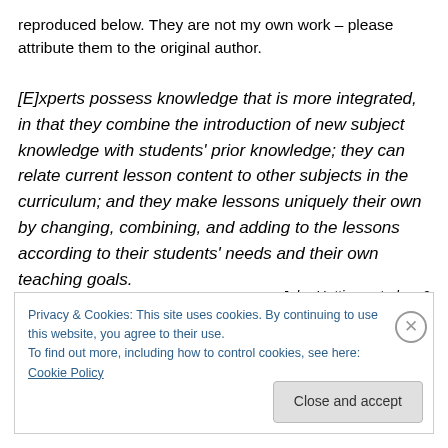reproduced below. They are not my own work – please attribute them to the original author.
[E]xperts possess knowledge that is more integrated, in that they combine the introduction of new subject knowledge with students' prior knowledge; they can relate current lesson content to other subjects in the curriculum; and they make lessons uniquely their own by changing, combining, and adding to the lessons according to their students' needs and their own teaching goals.
John Hattie quoted on 2
Privacy & Cookies: This site uses cookies. By continuing to use this website, you agree to their use.
To find out more, including how to control cookies, see here: Cookie Policy
Close and accept